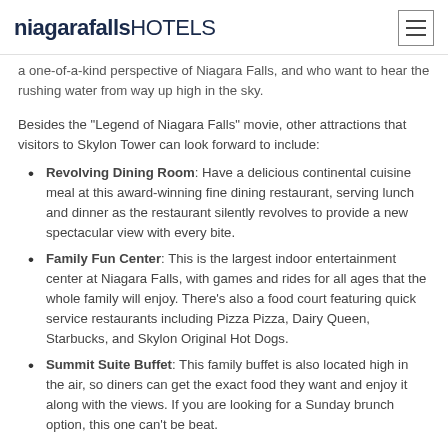niagarafallsHOTELS
a one-of-a-kind perspective of Niagara Falls, and who want to hear the rushing water from way up high in the sky.
Besides the "Legend of Niagara Falls" movie, other attractions that visitors to Skylon Tower can look forward to include:
Revolving Dining Room: Have a delicious continental cuisine meal at this award-winning fine dining restaurant, serving lunch and dinner as the restaurant silently revolves to provide a new spectacular view with every bite.
Family Fun Center: This is the largest indoor entertainment center at Niagara Falls, with games and rides for all ages that the whole family will enjoy. There's also a food court featuring quick service restaurants including Pizza Pizza, Dairy Queen, Starbucks, and Skylon Original Hot Dogs.
Summit Suite Buffet: This family buffet is also located high in the air, so diners can get the exact food they want and enjoy it along with the views. If you are looking for a Sunday brunch option, this one can't be beat.
Day or night, there is always something fun to do at the Skylon Tower. The "Legend of Niagara Falls" movie is open on weekends, so plan a whole day of fun filled with food and entertainment when